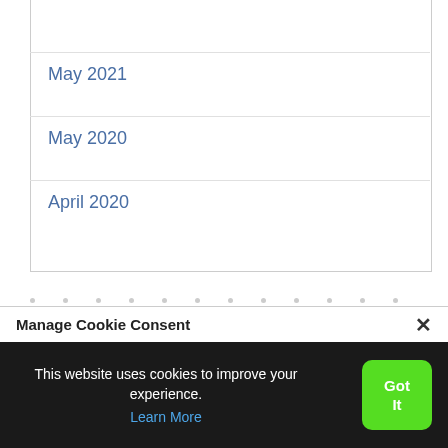June 2021
May 2021
May 2020
April 2020
Manage Cookie Consent
This website uses cookies to improve your experience. Learn More
Got It